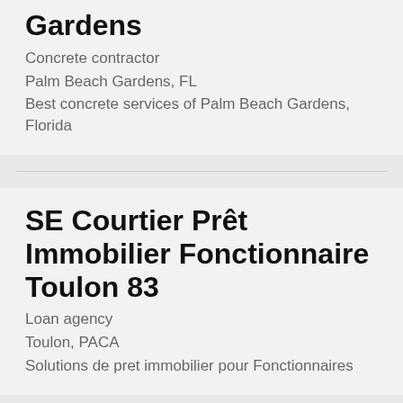Gardens
Concrete contractor
Palm Beach Gardens, FL
Best concrete services of Palm Beach Gardens, Florida
SE Courtier Prêt Immobilier Fonctionnaire Toulon 83
Loan agency
Toulon, PACA
Solutions de pret immobilier pour Fonctionnaires